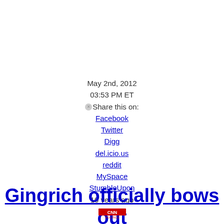May 2nd, 2012
03:53 PM ET
⊗Share this on:
Facebook
Twitter
Digg
del.icio.us
reddit
MySpace
StumbleUpon
10 years ago
Gingrich officially bows out
[Figure (logo): CNN Politics logo]